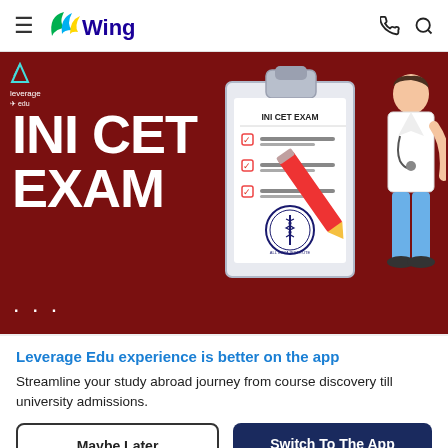Wings navigation bar with hamburger menu, Wings logo, phone and search icons
[Figure (illustration): Dark red banner showing 'INI CET EXAM' in large white bold text on the left, a clipboard illustration in the center with 'INI CET EXAM' written and three checkboxes with a medical seal, and an illustrated doctor/student character on the right holding a large red pencil. Leverage Edu logo at top-left corner. Three white dots at bottom-left.]
Leverage Edu experience is better on the app
Streamline your study abroad journey from course discovery till university admissions.
Maybe Later
Switch To The App